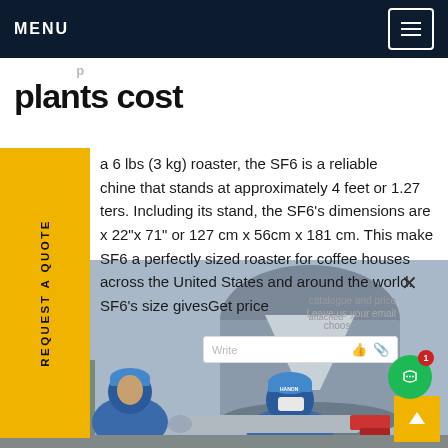MENU
plants cost
a 6 lbs (3 kg) roaster, the SF6 is a reliable machine that stands at approximately 4 feet or 1.27 ters. Including its stand, the SF6's dimensions are x 22"x 71" or 127 cm x 56cm x 181 cm. This makes SF6 a perfectly sized roaster for coffee houses across the United States and around the world. SF6's size givesGet price
[Figure (photo): Workers in blue hard hats and face masks working on industrial equipment, likely a power plant or industrial facility.]